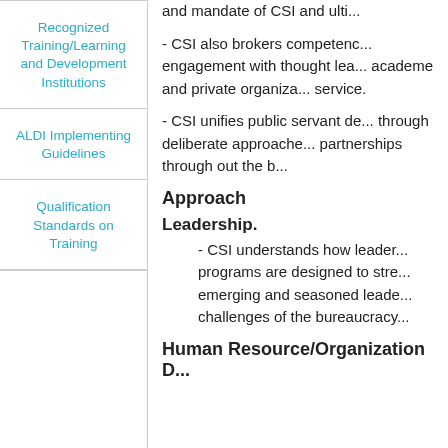Recognized Training/Learning and Development Institutions
ALDI Implementing Guidelines
Qualification Standards on Training
and mandate of CSI and ulti...
- CSI also brokers competenc... engagement with thought lea... academe and private organiza... service.
- CSI unifies public servant de... through deliberate approache... partnerships through out the b...
Approach
Leadership.
- CSI understands how leader... programs are designed to stre... emerging and seasoned leade... challenges of the bureaucracy...
Human Resource/Organization D...